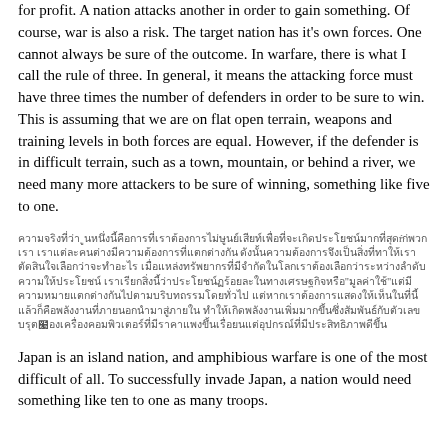for profit. A nation attacks another in order to gain something. Of course, war is also a risk. The target nation has it's own forces. One cannot always be sure of the outcome. In warfare, there is what I call the rule of three. In general, it means the attacking force must have three times the number of defenders in order to be sure to win. This is assuming that we are on flat open terrain, weapons and training levels in both forces are equal. However, if the defender is in difficult terrain, such as a town, mountain, or behind a river, we need many more attackers to be sure of winning, something like five to one.
[Thai language paragraph]
Japan is an island nation, and amphibious warfare is one of the most difficult of all. To successfully invade Japan, a nation would need something like ten to one as many troops.